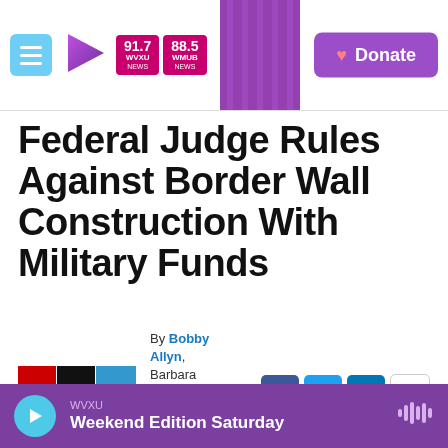WVXU 91.7 NEWS | WMUB 88.5 NEWS | Donate
Federal Judge Rules Against Border Wall Construction With Military Funds
By Bobby Allyn, Barbara Campbell
Published June 28, 2019 at 11:12 PM EDT
[Figure (logo): NPR logo — red n, black p, blue r on white background]
WVXU Weekend Edition Saturday